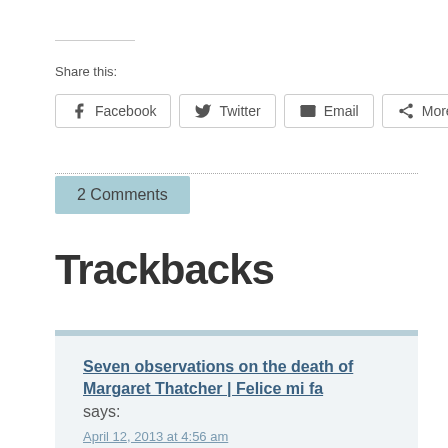Share this:
Facebook | Twitter | Email | More
2 Comments
Trackbacks
Seven observations on the death of Margaret Thatcher | Felice mi fa says:
April 12, 2013 at 4:56 am
[…] that life were easier. People do not all see the world the same way, and sometimes it feels as if there is no common ground to stand